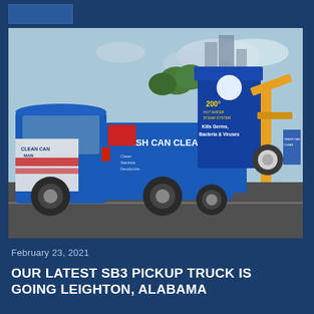[Figure (photo): A blue branded pickup truck with 'Clean Can Man' and 'Trash Can Cleaning' vehicle wrap, showing cleaning equipment and a blue hopper unit. Text on truck reads: TRASH CAN CLEANING, Clean, Sanitize, Deodorize, Residential & Commercial, 200° Hot Water Steam System, Kills Germs, Bacteria & Viruses.]
February 23, 2021
OUR LATEST SB3 PICKUP TRUCK IS GOING LEIGHTON, ALABAMA